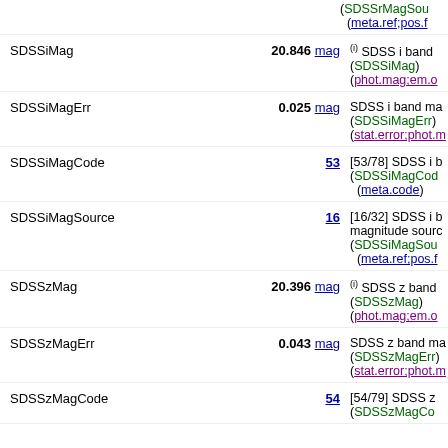(SDSSrMagSource (meta.ref;pos.f...
| Name | Value | Description |
| --- | --- | --- |
| SDSSiMag | 20.846 mag | (i) SDSS i band ... (SDSSiMag) (phot.mag;em.o... |
| SDSSiMagErr | 0.025 mag | SDSS i band ma... (SDSSiMagErr) (stat.error;phot.m... |
| SDSSiMagCode | 53 | [53/78] SDSS i b... (SDSSiMagCode... (meta.code) |
| SDSSiMagSource | 16 | [16/32] SDSS i b... magnitude sourc... (SDSSiMagSou... (meta.ref;pos.f... |
| SDSSzMag | 20.396 mag | (i) SDSS z band... (SDSSzMag) (phot.mag;em.o... |
| SDSSzMagErr | 0.043 mag | SDSS z band ma... (SDSSzMagErr) (stat.error;phot.m... |
| SDSSzMagCode | 54 | [54/79] SDSS z... (SDSSzMagCode... |